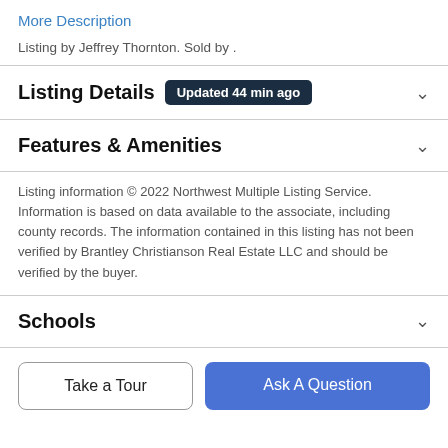More Description
Listing by Jeffrey Thornton. Sold by .
Listing Details   Updated 44 min ago
Features & Amenities
Listing information © 2022 Northwest Multiple Listing Service. Information is based on data available to the associate, including county records. The information contained in this listing has not been verified by Brantley Christianson Real Estate LLC and should be verified by the buyer.
Schools
Take a Tour
Ask A Question